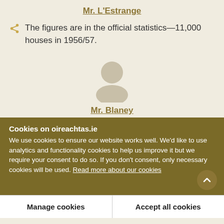Mr. L'Estrange
The figures are in the official statistics—11,000 houses in 1956/57.
[Figure (illustration): Silhouette avatar of a person (head and shoulders) in grey/beige tones]
Mr. Blaney
Cookies on oireachtas.ie
We use cookies to ensure our website works well. We'd like to use analytics and functionality cookies to help us improve it but we require your consent to do so. If you don't consent, only necessary cookies will be used. Read more about our cookies
Manage cookies
Accept all cookies